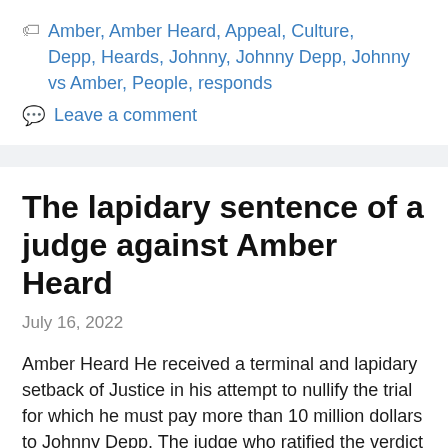Amber, Amber Heard, Appeal, Culture, Depp, Heards, Johnny, Johnny Depp, Johnny vs Amber, People, responds
Leave a comment
The lapidary sentence of a judge against Amber Heard
July 16, 2022
Amber Heard He received a terminal and lapidary setback of Justice in his attempt to nullify the trial for which he must pay more than 10 million dollars to Johnny Depp. The judge who ratified the verdict of the jury